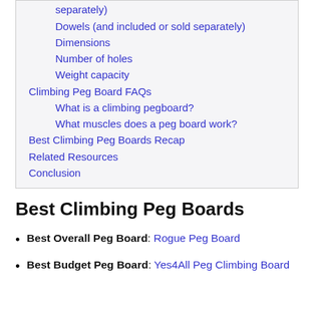separately)
Dowels (and included or sold separately)
Dimensions
Number of holes
Weight capacity
Climbing Peg Board FAQs
What is a climbing pegboard?
What muscles does a peg board work?
Best Climbing Peg Boards Recap
Related Resources
Conclusion
Best Climbing Peg Boards
Best Overall Peg Board: Rogue Peg Board
Best Budget Peg Board: Yes4All Peg Climbing Board